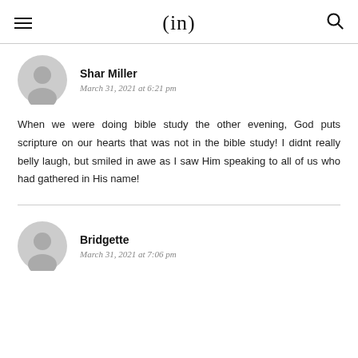(in)
Shar Miller
March 31, 2021 at 6:21 pm
When we were doing bible study the other evening, God puts scripture on our hearts that was not in the bible study! I didnt really belly laugh, but smiled in awe as I saw Him speaking to all of us who had gathered in His name!
Bridgette
March 31, 2021 at 7:06 pm